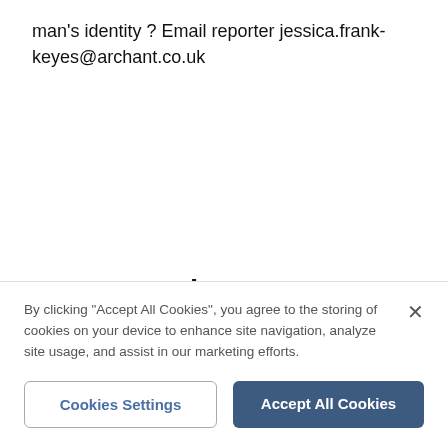man's identity ? Email reporter jessica.frank-keyes@archant.co.uk
Don't Miss
By clicking "Accept All Cookies", you agree to the storing of cookies on your device to enhance site navigation, analyze site usage, and assist in our marketing efforts.
Cookies Settings
Accept All Cookies